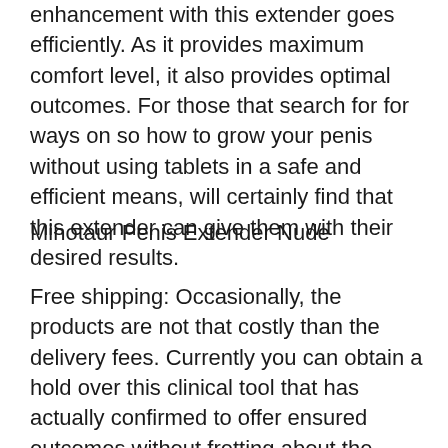enhancement with this extender goes efficiently. As it provides maximum comfort level, it also provides optimal outcomes. For those that search for for ways on so how to grow your penis without using tablets in a safe and efficient means, will certainly find that this extender can give them with their desired results.
Minotaur Penis Extender Nude
Free shipping: Occasionally, the products are not that costly than the delivery fees. Currently you can obtain a hold over this clinical tool that has actually confirmed to offer ensured outcomes without fretting about the delivery fees. Together with this the extender promises return back plan, so